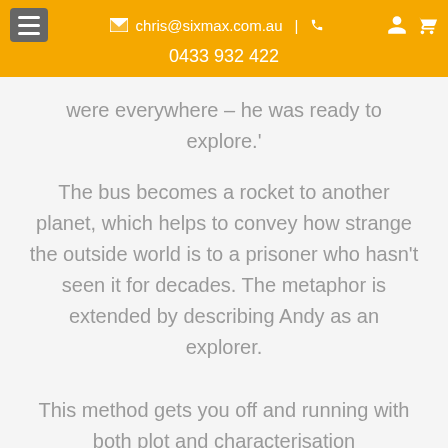chris@sixmax.com.au | 0433 932 422
were everywhere – he was ready to explore.'
The bus becomes a rocket to another planet, which helps to convey how strange the outside world is to a prisoner who hasn't seen it for decades. The metaphor is extended by describing Andy as an explorer.
This method gets you off and running with both plot and characterisation